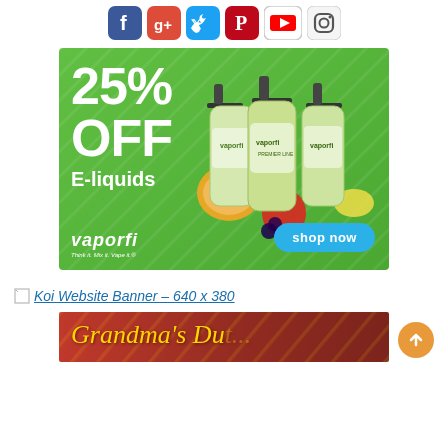[Figure (other): Social media icon buttons: Facebook, Google+, Twitter, Pinterest, YouTube, Instagram]
[Figure (infographic): VaporFi advertisement banner: '25% OFF E-liquids' on green background with three e-liquid bottles and fruits, VaporFi logo, 'shop now' blue button, tagline 'Think it. Mix it. Vape it.']
[Figure (other): Broken image placeholder text: 'Koi Website Banner - 640 x 380']
[Figure (other): Grandma's Dut... advertisement banner - red background with gold script text]